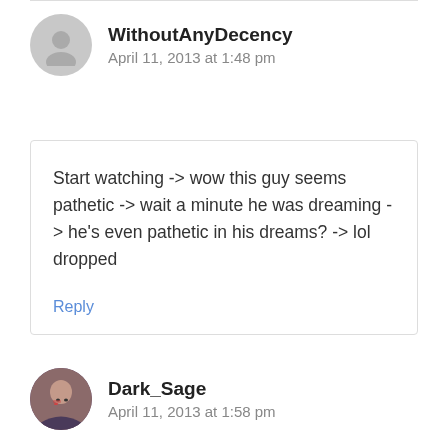WithoutAnyDecency
April 11, 2013 at 1:48 pm
Start watching -> wow this guy seems pathetic -> wait a minute he was dreaming -> he's even pathetic in his dreams? -> lol dropped
Reply
Dark_Sage
April 11, 2013 at 1:58 pm